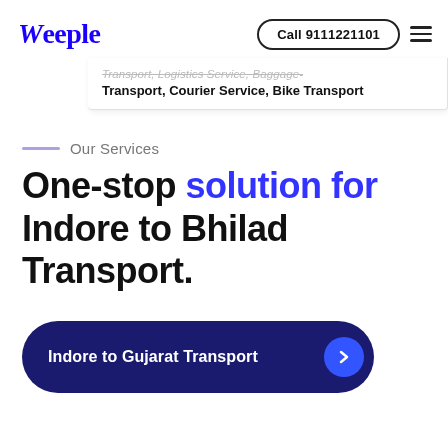[Figure (logo): Weeple logo in blue color with italic W]
Call 9111221101
Transport, Logistics Service, Baggage Transport, Courier Service, Bike Transport
Our Services
One-stop solution for Indore to Bhilad Transport.
Indore to Gujarat Transport